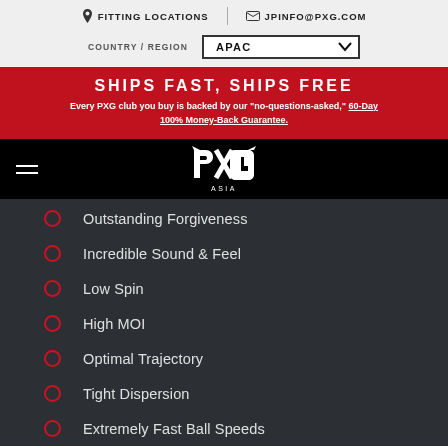FITTING LOCATIONS | JPINFO@PXG.COM
COUNTRY / REGION   APAC
SHIPS FAST, SHIPS FREE
Every PXG club you buy is backed by our "no-questions-asked," 60-Day 100% Money-Back Guarantee.
[Figure (logo): PXG ASIA logo in white on black navigation bar with hamburger menu]
Outstanding Forgiveness
Incredible Sound & Feel
Low Spin
High MOI
Optimal Trajectory
Tight Dispersion
Extremely Fast Ball Speeds